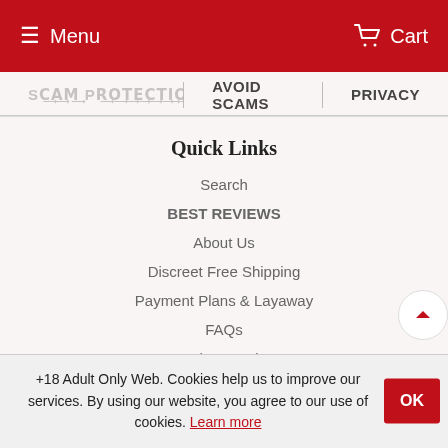≡ Menu   Cart
AVOID SCAMS
PRIVACY
Quick Links
Search
BEST REVIEWS
About Us
Discreet Free Shipping
Payment Plans & Layaway
FAQs
Price Match
Military Discount
+18 Adult Only Web. Cookies help us to improve our services. By using our website, you agree to our use of cookies. Learn more